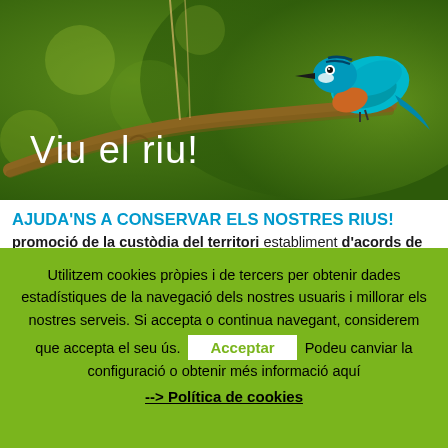[Figure (photo): A kingfisher bird with bright teal/blue plumage perched on a branch, against a green bokeh background. Text overlay reads 'Viu el riu!']
AJUDA'NS A CONSERVAR ELS NOSTRES RIUS!
promoció de la custòdia del territori establiment d'acords de custòdia del territori restauració de la vegetació de ribora... establiment d'odencions de
Utilitzem cookies pròpies i de tercers per obtenir dades estadístiques de la navegació dels nostres usuaris i millorar els nostres serveis. Si accepta o continua navegant, considerem que accepta el seu ús. Acceptar Podeu canviar la configuració o obtenir més informació aquí --> Política de cookies